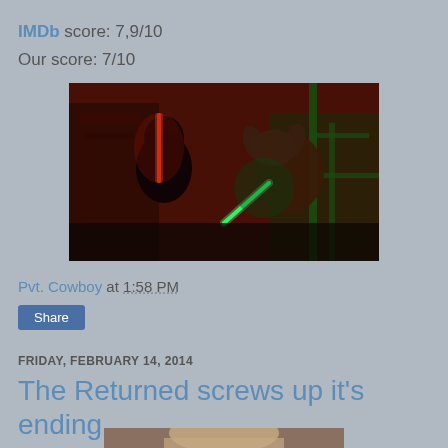IMDb score: 7,9/10
Our score: 7/10
[Figure (photo): Dark scene showing two characters fighting with lightsabers — one red, one green — resembling a Star Wars scene with Yoda and a Sith opponent in a dimly lit reddish environment.]
Pvt. Cowboy at 1:58 PM
Share
FRIDAY, FEBRUARY 14, 2014
The Returned screws up it's ending
[Figure (photo): Partial photo of a person's face, cropped at the bottom of the page.]